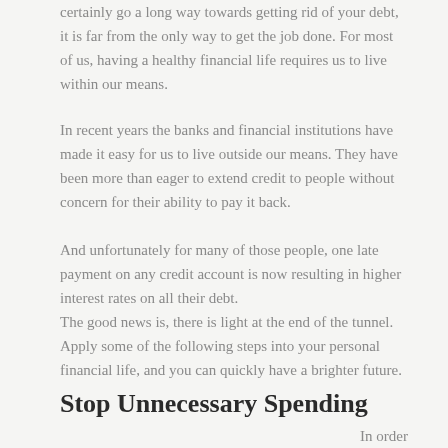certainly go a long way towards getting rid of your debt, it is far from the only way to get the job done. For most of us, having a healthy financial life requires us to live within our means.
In recent years the banks and financial institutions have made it easy for us to live outside our means. They have been more than eager to extend credit to people without concern for their ability to pay it back.
And unfortunately for many of those people, one late payment on any credit account is now resulting in higher interest rates on all their debt.
The good news is, there is light at the end of the tunnel. Apply some of the following steps into your personal financial life, and you can quickly have a brighter future.
Stop Unnecessary Spending
In order